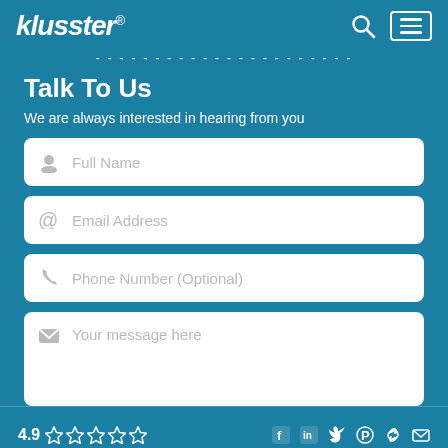klusster®
Talk To Us
We are always interested in hearing from you
Full Name
Email Address
Phone Number (Optional)
Your message here
4.9 ☆☆☆☆☆